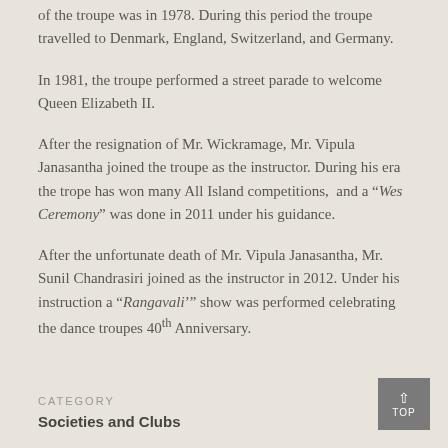of the troupe was in 1978. During this period the troupe travelled to Denmark, England, Switzerland, and Germany.
In 1981, the troupe performed a street parade to welcome Queen Elizabeth II.
After the resignation of Mr. Wickramage, Mr. Vipula Janasantha joined the troupe as the instructor. During his era the trope has won many All Island competitions, and a “Wes Ceremony” was done in 2011 under his guidance.
After the unfortunate death of Mr. Vipula Janasantha, Mr. Sunil Chandrasiri joined as the instructor in 2012. Under his instruction a “Rangavali’” show was performed celebrating the dance troupes 40th Anniversary.
CATEGORY
Societies and Clubs